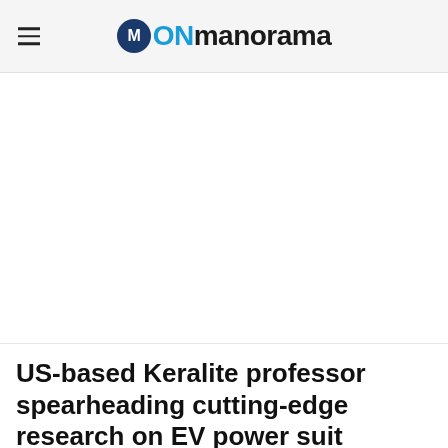Onmanorama
[Figure (other): Large blank white advertisement or image placeholder area]
US-based Keralite professor spearheading cutting-edge research on EV power suit